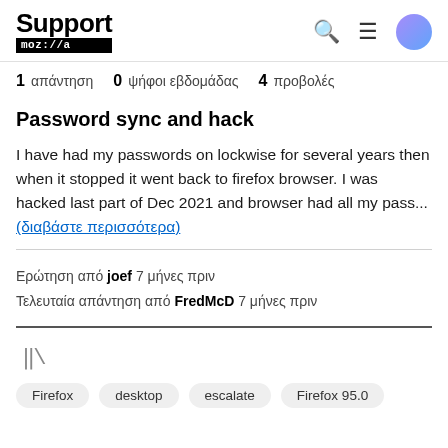Support moz://a
1 απάντηση  0 ψήφοι εβδομάδας  4 προβολές
Password sync and hack
I have had my passwords on lockwise for several years then when it stopped it went back to firefox browser. I was hacked last part of Dec 2021 and browser had all my pass... (διαβάστε περισσότερα)
Ερώτηση από joef 7 μήνες πριν
Τελευταία απάντηση από FredMcD 7 μήνες πριν
Firefox
desktop
escalate
Firefox 95.0